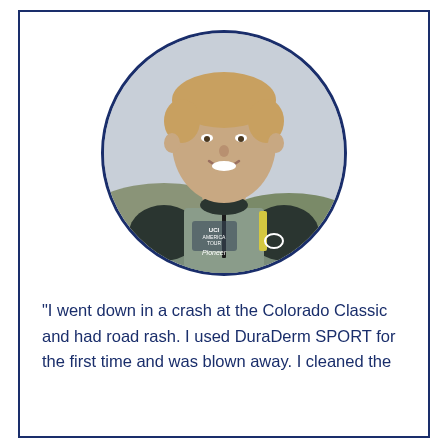[Figure (photo): Circular portrait photo of a male cyclist wearing a UCI America Tour cycling jersey with Pioneer and Oakley logos, smiling, with a hilly background.]
“I went down in a crash at the Colorado Classic and had road rash. I used DuraDerm SPORT for the first time and was blown away. I cleaned the